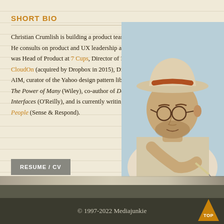SHORT BIO
Christian Crumlish is building a product team at COVID Safe Paths. He consults on product and UX leadership at Design in Product. He was Head of Product at 7 Cups, Director of Product and UX at CloudOn (acquired by Dropbox in 2015), Director of Product for AIM, curator of the Yahoo design pattern library. He is the author of The Power of Many (Wiley), co-author of Designing Social Interfaces (O'Reilly), and is currently writing Growing Product People (Sense & Respond).
[Figure (illustration): Painted portrait illustration of a man wearing a fedora hat and glasses, holding a pen, viewed from a side angle]
RESUME / CV
© 1997-2022 Mediajunkie